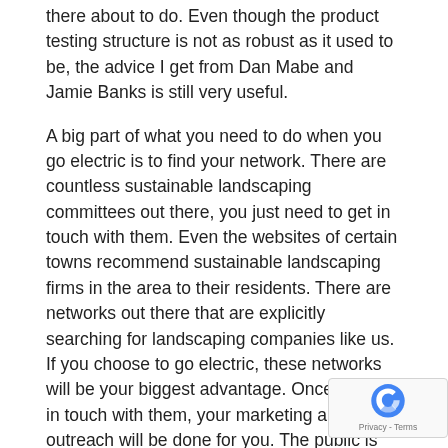there about to do. Even though the product testing structure is not as robust as it used to be, the advice I get from Dan Mabe and Jamie Banks is still very useful.
A big part of what you need to do when you go electric is to find your network. There are countless sustainable landscaping committees out there, you just need to get in touch with them. Even the websites of certain towns recommend sustainable landscaping firms in the area to their residents. There are networks out there that are explicitly searching for landscaping companies like us. If you choose to go electric, these networks will be your biggest advantage. Once you get in touch with them, your marketing and outreach will be done for you. The public is very hungry for electric, quiet landscaping. Customers will flock to a new electric firm in their area if you take advantage of the infrastructure available to you, and this decrease in marketing cost is a great way to make up for the high upfront costs of electric landscaping.
The next thing electric landscapers can do is find a system that works for them. Analyze every product and the manufacturer of that product and find ones that have a product support network. Paying more for repairable tools is better than paying less for something that's going to break. Make sure you have equipment